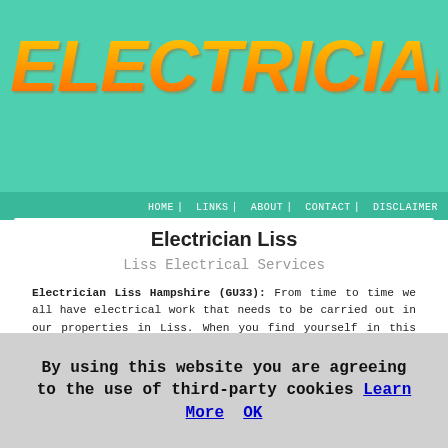ELECTRICIANS
HOME | LINKS | ABOUT | CONTACT | DISCLAIMER
Electrician Liss
Liss Electrical Services
Electrician Liss Hampshire (GU33): From time to time we all have electrical work that needs to be carried out in our properties in Liss. When you find yourself in this position, it's vital that you find a properly qualified electrician to undertake the job. Unless you have the appropriate qualifications, it isn't a good idea to tinker with electrics yourself. And owing to the safety ramifications of this kind of work, it isn't a good idea to use a "handyman" type service. So for installing electric sockets, putting up light fittings, electrical testing or
By using this website you are agreeing to the use of third-party cookies Learn More  OK